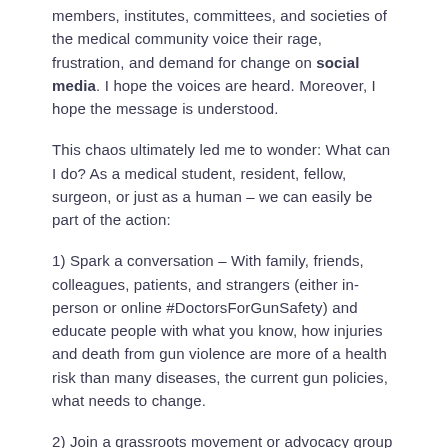members, institutes, committees, and societies of the medical community voice their rage, frustration, and demand for change on social media. I hope the voices are heard. Moreover, I hope the message is understood.
This chaos ultimately led me to wonder: What can I do? As a medical student, resident, fellow, surgeon, or just as a human – we can easily be part of the action:
1) Spark a conversation – With family, friends, colleagues, patients, and strangers (either in-person or online #DoctorsForGunSafety) and educate people with what you know, how injuries and death from gun violence are more of a health risk than many diseases, the current gun policies, what needs to change.
2) Join a grassroots movement or advocacy group (Amnesty International, March for Our Lives, The Brady Campaign,